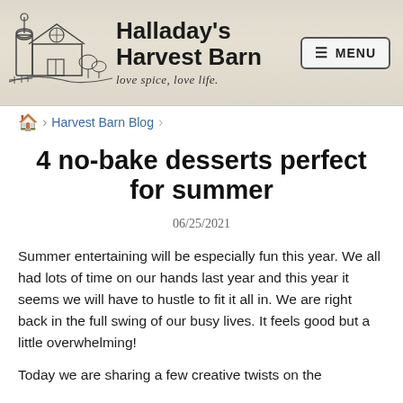Halladay's Harvest Barn | love spice, love life. | MENU
Harvest Barn Blog
4 no-bake desserts perfect for summer
06/25/2021
Summer entertaining will be especially fun this year. We all had lots of time on our hands last year and this year it seems we will have to hustle to fit it all in. We are right back in the full swing of our busy lives. It feels good but a little overwhelming!
Today we are sharing a few creative twists on the